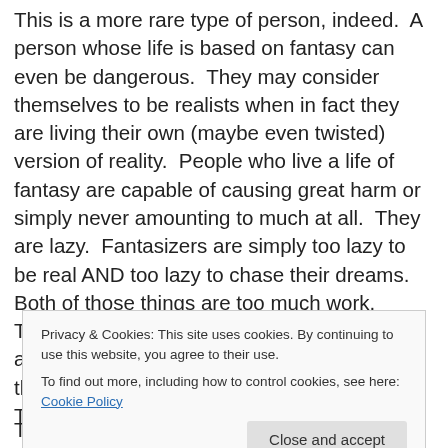This is a more rare type of person, indeed.  A person whose life is based on fantasy can even be dangerous.  They may consider themselves to be realists when in fact they are living their own (maybe even twisted) version of reality.  People who live a life of fantasy are capable of causing great harm or simply never amounting to much at all.  They are lazy.  Fantasizers are simply too lazy to be real AND too lazy to chase their dreams.  Both of those things are too much work.   They are too egocentric to care about anything beyond what feels right and good to themselves at that particular moment in time.  They don't
Privacy & Cookies: This site uses cookies. By continuing to use this website, you agree to their use.
To find out more, including how to control cookies, see here: Cookie Policy
They live for the moment.